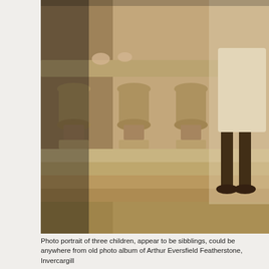[Figure (photo): Sepia-toned photo portrait of three children standing near a stone balustrade with ornamental balusters. Two children at top with hands resting on stone rail, one child visible at right in white dress with dark stockings and Mary Jane shoes.]
Photo portrait of three children, appear to be sibblings, could be anywhere from old photo album of Arthur Eversfield Featherstone, Invercargill
[Figure (photo): Partial sepia-toned photograph showing a close-up detail, appears to be a rounded surface with a dark mark or stamp visible.]